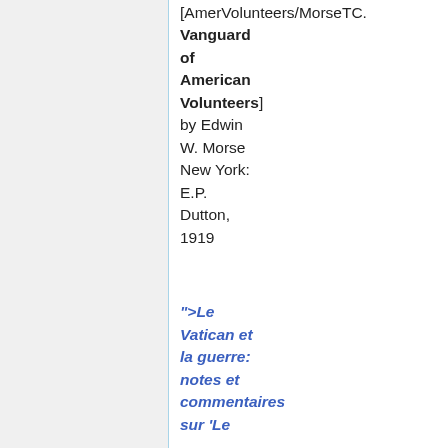[AmerVolunteers/MorseTC. Vanguard of American Volunteers] by Edwin W. Morse New York: E.P. Dutton, 1919
">Le Vatican et la guerre: notes et commentaires sur 'Le...